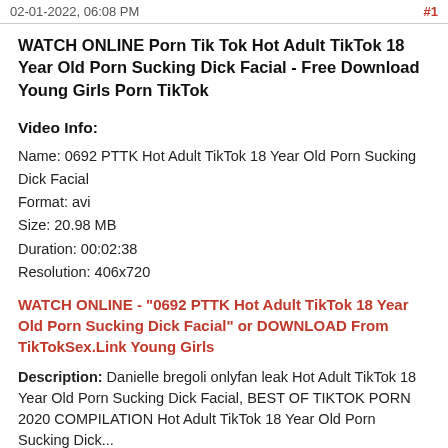02-01-2022, 06:08 PM    #1
WATCH ONLINE Porn Tik Tok Hot Adult TikTok 18 Year Old Porn Sucking Dick Facial - Free Download Young Girls Porn TikTok
Video Info:
Name: 0692 PTTK Hot Adult TikTok 18 Year Old Porn Sucking Dick Facial
Format: avi
Size: 20.98 MB
Duration: 00:02:38
Resolution: 406x720
WATCH ONLINE - "0692 PTTK Hot Adult TikTok 18 Year Old Porn Sucking Dick Facial" or DOWNLOAD From TikTokSex.Link Young Girls
Description: Danielle bregoli onlyfan leak Hot Adult TikTok 18 Year Old Porn Sucking Dick Facial, BEST OF TIKTOK PORN 2020 COMPILATION Hot Adult TikTok 18 Year Old Porn Sucking Dick...